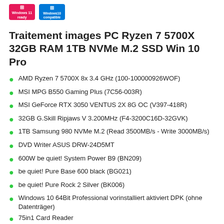[Figure (logo): Windows 11 Ready badge (pink/magenta) and Windows 10 badge (blue) side by side]
Traitement images PC Ryzen 7 5700X 32GB RAM 1TB NVMe M.2 SSD Win 10 Pro
AMD Ryzen 7 5700X 8x 3.4 GHz (100-100000926WOF)
MSI MPG B550 Gaming Plus (7C56-003R)
MSI GeForce RTX 3050 VENTUS 2X 8G OC (V397-418R)
32GB G.Skill Ripjaws V 3.200MHz (F4-3200C16D-32GVK)
1TB Samsung 980 NVMe M.2 (Read 3500MB/s - Write 3000MB/s)
DVD Writer ASUS DRW-24D5MT
600W be quiet! System Power B9 (BN209)
be quiet! Pure Base 600 black (BG021)
be quiet! Pure Rock 2 Silver (BK006)
Windows 10 64Bit Professional vorinstalliert aktiviert DPK (ohne Datenträger)
75in1 Card Reader
140mm Default Case Fan
120mm Default Case Fan